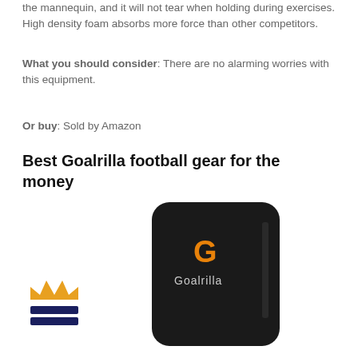the mannequin, and it will not tear when holding during exercises. High density foam absorbs more force than other competitors.
What you should consider: There are no alarming worries with this equipment.
Or buy: Sold by Amazon
Best Goalrilla football gear for the money
[Figure (photo): Goalrilla black football blocking pad with orange Goalrilla logo]
[Figure (logo): Crown and horizontal bars badge icon in gold/orange and dark navy blue]